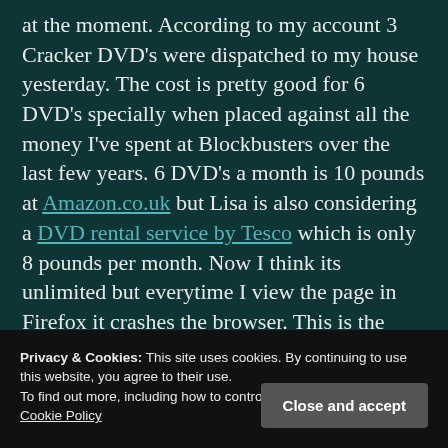at the moment. According to my account 3 Cracker DVD's were dispatched to my house yesterday. The cost is pretty good for 6 DVD's specially when placed against all the money I've spent at Blockbusters over the last few years. 6 DVD's a month is 10 pounds at Amazon.co.uk but Lisa is also considering a DVD rental service by Tesco which is only 8 pounds per month. Now I think its unlimited but everytime I view the page in Firefox it crashes the browser. This is the reason why
Privacy & Cookies: This site uses cookies. By continuing to use this website, you agree to their use.
To find out more, including how to control cookies, see here:
Cookie Policy
Close and accept